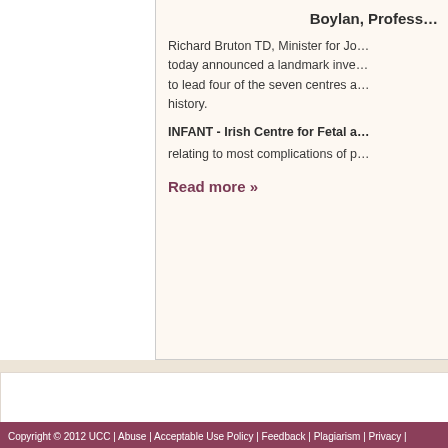Boylan, Profess…
Richard Bruton TD, Minister for Jo… today announced a landmark inve… to lead four of the seven centres a… history.
INFANT - Irish Centre for Fetal a…
relating to most complications of p…
Read more »
Copyright © 2012 UCC | Abuse | Acceptable Use Policy | Feedback | Plagiarism | Privacy |